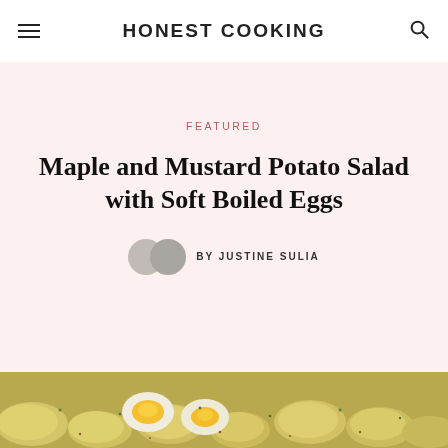HONEST COOKING
FEATURED
Maple and Mustard Potato Salad with Soft Boiled Eggs
BY JUSTINE SULIA
[Figure (photo): Close-up photo of maple and mustard potato salad with soft boiled eggs, showing golden potatoes and halved eggs with bright yolks, garnished with herbs]